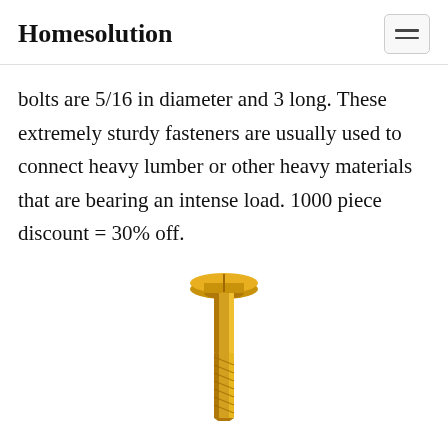Homesolution
bolts are 5/16 in diameter and 3 long. These extremely sturdy fasteners are usually used to connect heavy lumber or other heavy materials that are bearing an intense load. 1000 piece discount = 30% off.
[Figure (photo): A golden/brass colored bolt or lag screw photographed vertically, showing the head at top and threaded shaft below, on a white background.]